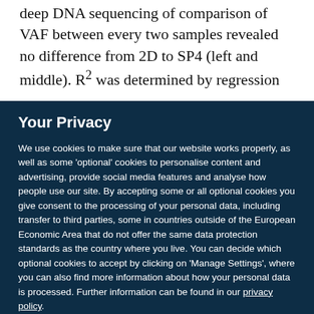deep DNA sequencing of comparison of VAF between every two samples revealed no difference from 2D to SP4 (left and middle). R² was determined by regression
Your Privacy
We use cookies to make sure that our website works properly, as well as some 'optional' cookies to personalise content and advertising, provide social media features and analyse how people use our site. By accepting some or all optional cookies you give consent to the processing of your personal data, including transfer to third parties, some in countries outside of the European Economic Area that do not offer the same data protection standards as the country where you live. You can decide which optional cookies to accept by clicking on 'Manage Settings', where you can also find more information about how your personal data is processed. Further information can be found in our privacy policy.
Accept all cookies
Manage preferences